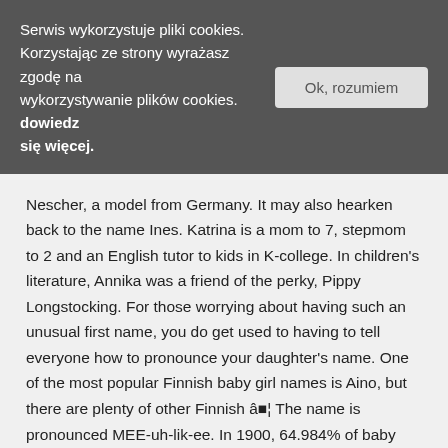Serwis wykorzystuje pliki cookies. Korzystając ze strony wyrażasz zgodę na wykorzystywanie plików cookies. dowiedz się więcej.
Ok, rozumiem
Nescher, a model from Germany. It may also hearken back to the name Ines. Katrina is a mom to 7, stepmom to 2 and an English tutor to kids in K-college. In children's literature, Annika was a friend of the perky, Pippy Longstocking. For those worrying about having such an unusual first name, you do get used to having to tell everyone how to pronounce your daughter's name. One of the most popular Finnish baby girl names is Aino, but there are plenty of other Finnish â¦ The name is pronounced MEE-uh-lik-ee. In 1900, 64.984% of baby girls were given 2-syllable names. This lovely name immediately brings to mind Scandinavian landscapes. In Sweden the name's heyday was more around the early 1900s. Nicknames would include Pauli, Pauline or Liina, or perhaps Lia. Maria means "born". Pronunciation : case sensitive: see the